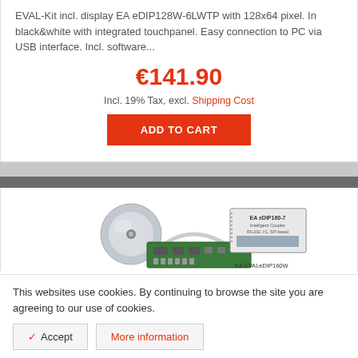EVAL-Kit incl. display EA eDIP128W-6LWTP with 128x64 pixel. In black&white with integrated touchpanel. Easy connection to PC via USB interface. Incl. software...
€141.90
Incl. 19% Tax, excl. Shipping Cost
ADD TO CART
[Figure (photo): Product image showing EA EVALeDIP160W kit with green circuit board, CD, cable, and EA eDIP160-7 intelligent coupler module]
This websites use cookies. By continuing to browse the site you are agreeing to our use of cookies.
✓ Accept
More information